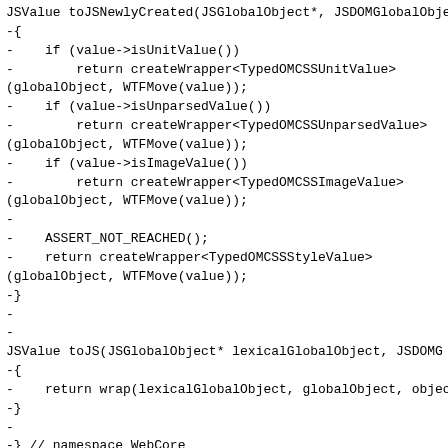JSValue toJSNewlyCreated(JSGlobalObject*, JSDOMGlobalObject*
-{
-    if (value->isUnitValue())
-        return createWrapper<TypedOMCSSUnitValue>
(globalObject, WTFMove(value));
-    if (value->isUnparsedValue())
-        return createWrapper<TypedOMCSSUnparsedValue>
(globalObject, WTFMove(value));
-    if (value->isImageValue())
-        return createWrapper<TypedOMCSSImageValue>
(globalObject, WTFMove(value));
-
-    ASSERT_NOT_REACHED();
-    return createWrapper<TypedOMCSSStyleValue>
(globalObject, WTFMove(value));
-}
-
-
JSValue toJS(JSGlobalObject* lexicalGlobalObject, JSDOMG
-{
-    return wrap(lexicalGlobalObject, globalObject, objec
-}
-
-} // namespace WebCore
-
-#endif
</del></span></pre></div>
<a id="trunkSourceWebCorecsstypedomCSSNumericValuecppfrom
</a>
<div class="cppfile">